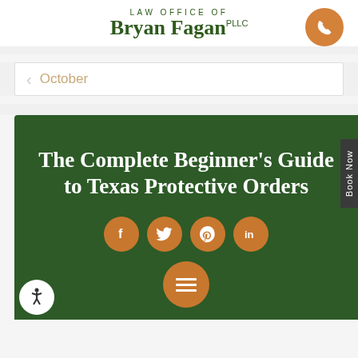LAW OFFICE OF Bryan Fagan PLLC
October
The Complete Beginner's Guide to Texas Protective Orders
[Figure (other): Social media share icons: Facebook, Twitter, Pinterest, LinkedIn on orange circular buttons]